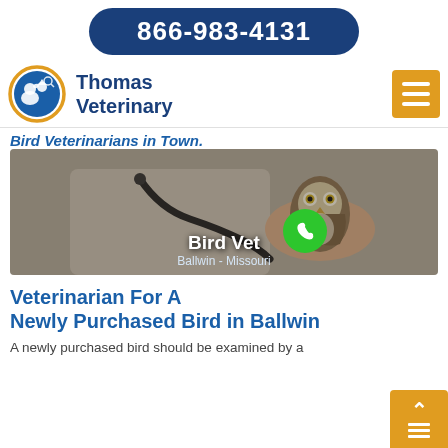866-983-4131
[Figure (logo): Thomas Veterinary logo with blue circle containing a dog and cat silhouette, orange ring border, and blue text 'Thomas Veterinary']
Bird Veterinarians in Town.
[Figure (photo): Photo of a person in scrubs holding a small burrowing owl with a stethoscope visible. Text overlay reads 'Bird Vet' and 'Ballwin - Missouri' with a green phone call button.]
Veterinarian For A Newly Purchased Bird in Ballwin
A newly purchased bird should be examined by a